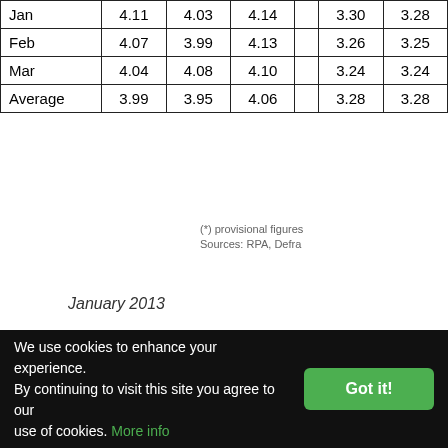|  |  |  |  |  |  |  |
| --- | --- | --- | --- | --- | --- | --- |
| Jan | 4.11 | 4.03 | 4.14 |  | 3.30 | 3.28 |
| Feb | 4.07 | 3.99 | 4.13 |  | 3.26 | 3.25 |
| Mar | 4.04 | 4.08 | 4.10 |  | 3.24 | 3.24 |
| Average | 3.99 | 3.95 | 4.06 |  | 3.28 | 3.28 |
(*) provisional figures
Sources: RPA, Defra
January 2013
DOWNLOAD REPORT:- Download this report here
[Figure (photo): Thermo Fisher Scientific advertisement banner with woman in lab coat]
We use cookies to enhance your experience. By continuing to visit this site you agree to our use of cookies. More info